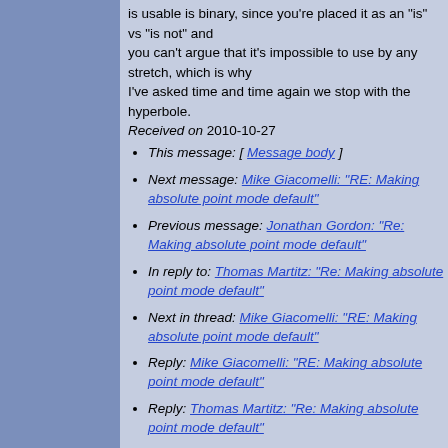is usable is binary, since you're placed it as an "is" vs "is not" and
you can't argue that it's impossible to use by any stretch, which is why
I've asked time and time again we stop with the hyperbole.
Received on 2010-10-27
This message: [ Message body ]
Next message: Mike Giacomelli: "RE: Making absolute point mode default"
Previous message: Jonathan Gordon: "Re: Making absolute point mode default"
In reply to: Thomas Martitz: "Re: Making absolute point mode default"
Next in thread: Mike Giacomelli: "RE: Making absolute point mode default"
Reply: Mike Giacomelli: "RE: Making absolute point mode default"
Reply: Thomas Martitz: "Re: Making absolute point mode default"
Contemporary messages sorted: [ by date ] [ by thread ] [ by subject ] [ by author ] [ by messages with attachments ]
Page template was last modified "Tue Sep 7 00:00:02 2021" The Rockbox Crew -- Privacy Policy